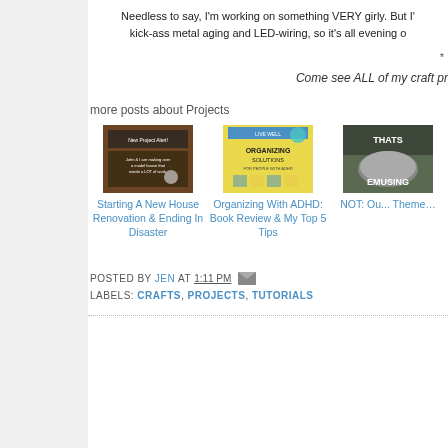Needless to say, I'm working on something VERY girly. But I'm also doing some kick-ass metal aging and LED-wiring, so it's all evening out.
*
Come see ALL of my craft pr...
more posts about Projects
[Figure (photo): Thumbnail image for Starting A New House Renovation & Ending In Disaster post]
Starting A New House Renovation & Ending In Disaster
[Figure (photo): Thumbnail image for Organizing With ADHD: Book Review & My Top 5 Tips post - shows book cover for Organizing Solutions]
Organizing With ADHD: Book Review & My Top 5 Tips
[Figure (photo): Thumbnail meme image with text THATS EMUSING - emu bird photo]
NOT: Our Theme...
POSTED BY JEN AT 1:11 PM
LABELS: CRAFTS, PROJECTS, TUTORIALS